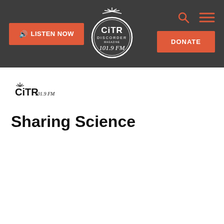CiTR 101.9 FM — LISTEN NOW | DONATE | navigation header
[Figure (logo): CiTR 101.9 FM Discorder Magazine circular logo in white on dark background]
[Figure (logo): CiTR 101.9 FM small black logo with radio tower icon]
Sharing Science